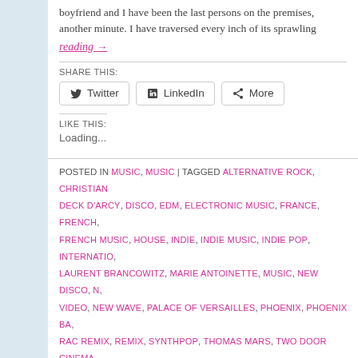boyfriend and I have been the last persons on the premises, another minute. I have traversed every inch of its sprawling
reading →
SHARE THIS:
[Figure (other): Social share buttons: Twitter, LinkedIn, More]
LIKE THIS:
Loading...
POSTED IN MUSIC, MUSIC | TAGGED ALTERNATIVE ROCK, CHRISTIAN, DECK D'ARCY, DISCO, EDM, ELECTRONIC MUSIC, FRANCE, FRENCH, FRENCH MUSIC, HOUSE, INDIE, INDIE MUSIC, INDIE POP, INTERNATIO, LAURENT BRANCOWITZ, MARIE ANTOINETTE, MUSIC, NEW DISCO, N, VIDEO, NEW WAVE, PALACE OF VERSAILLES, PHOENIX, PHOENIX BA, RAC REMIX, REMIX, SYNTHPOP, THOMAS MARS, TWO DOOR CINEMA